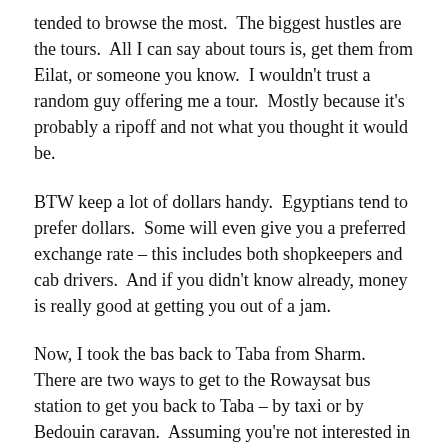tended to browse the most.  The biggest hustles are the tours.  All I can say about tours is, get them from Eilat, or someone you know.  I wouldn't trust a random guy offering me a tour.  Mostly because it's probably a ripoff and not what you thought it would be.
BTW keep a lot of dollars handy.  Egyptians tend to prefer dollars.  Some will even give you a preferred exchange rate – this includes both shopkeepers and cab drivers.  And if you didn't know already, money is really good at getting you out of a jam.
Now, I took the bas back to Taba from Sharm.  There are two ways to get to the Rowaysat bus station to get you back to Taba – by taxi or by Bedouin caravan.  Assuming you're not interested in waiting for a passing caravan, take the taxi.  Trust me.  I pinned it on a map and even the map is worthless.  It's on a patch of dirt in the middle of nowhere.  The taxi driver should know, he should charge you about